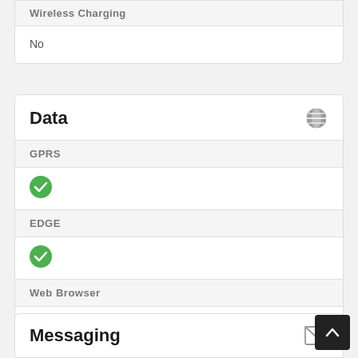Wireless Charging
No
Data
GPRS
✓ (green check)
EDGE
✓ (green check)
Web Browser
HTML5
Messaging